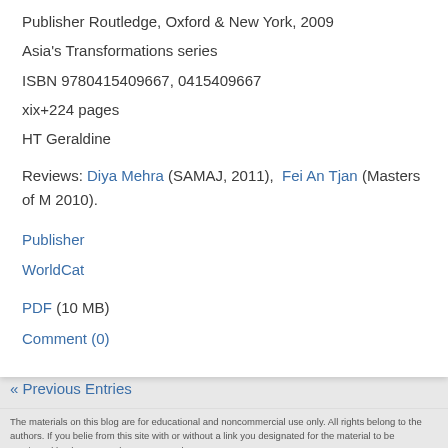Publisher Routledge, Oxford & New York, 2009
Asia's Transformations series
ISBN 9780415409667, 0415409667
xix+224 pages
HT Geraldine
Reviews: Diya Mehra (SAMAJ, 2011), Fei An Tjan (Masters of M... 2010).
Publisher
WorldCat
PDF (10 MB)
Comment (0)
« Previous Entries
The materials on this blog are for educational and noncommercial use only. All rights belong to the authors. If you belie... from this site with or without a link you designated for the material to be previewed by the users. Please support the a...